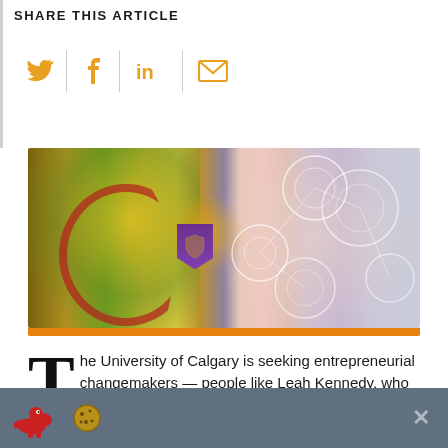SHARE THIS ARTICLE
[Figure (infographic): Social share icons: Twitter, Facebook, LinkedIn, Email — orange colored with vertical dividers]
[Figure (photo): University of Calgary promotional composite image showing campus buildings, trees, and medical/technology overlay with circular network graphics and orange bar at bottom]
The University of Calgary is seeking entrepreneurial changemakers — people like Leah Kennedy, who are
[Figure (infographic): Cookie consent banner with dinosaur and cookie icons on grey background with X close button]